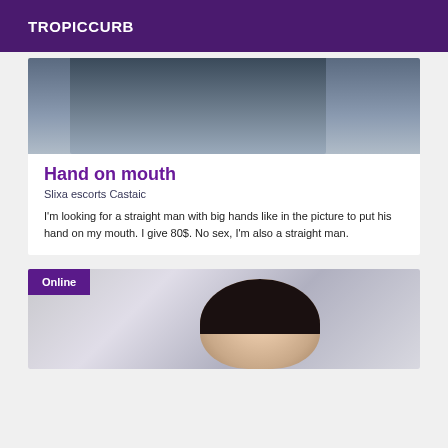TROPICCURB
[Figure (photo): Partial photo of a hand near a face, blurred blue-gray tones, cropped at bottom]
Hand on mouth
Slixa escorts Castaic
I'm looking for a straight man with big hands like in the picture to put his hand on my mouth. I give 80$. No sex, I'm also a straight man.
[Figure (photo): Photo of a woman with long dark hair, pale skin, looking at camera; 'Online' badge in top left corner]